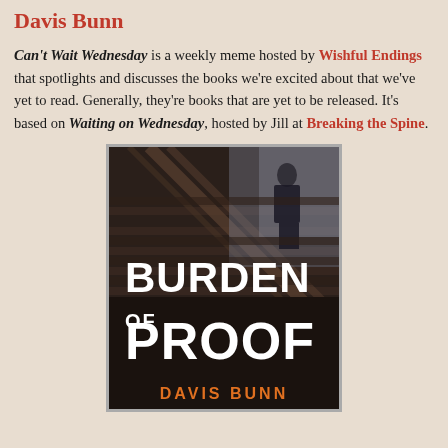Davis Bunn
Can't Wait Wednesday is a weekly meme hosted by Wishful Endings that spotlights and discusses the books we're excited about that we've yet to read. Generally, they're books that are yet to be released. It's based on Waiting on Wednesday, hosted by Jill at Breaking the Spine.
[Figure (photo): Book cover of 'Burden of Proof' by Davis Bunn, showing a person walking up concrete stairs on the upper portion, with large white bold text reading 'BURDEN OF PROOF' and orange bold text 'DAVIS BUNN' at the bottom.]